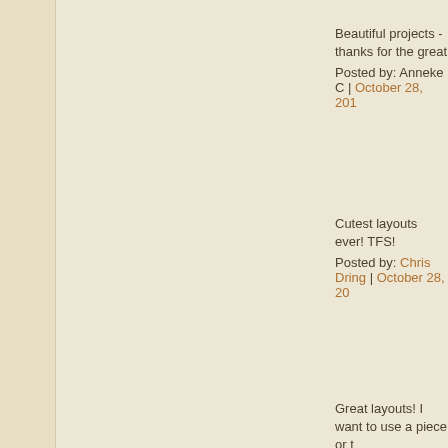Beautiful projects - thanks for the great
Posted by: Anneke C | October 28, 201
Cutest layouts ever! TFS!
Posted by: Chris Dring | October 28, 20
Great layouts! I want to use a piece or t
Posted by: Lyn Kaufmann | October 28
i love these papers i need these papers
Posted by: lisa malterud | October 28, 2
HAPPY HALLOWEEN!!! i love G45
Posted by: lisa malterud | October 28, 2
Beautiful
Posted by: jennifer | October 28, 2014